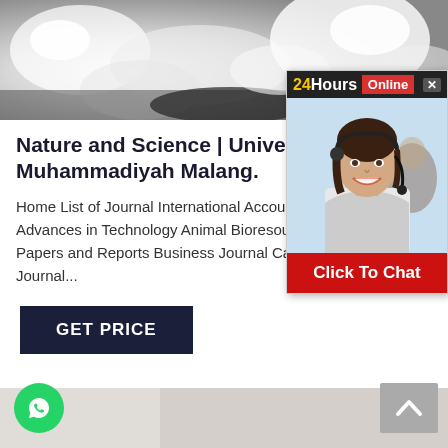[Figure (photo): Close-up photo of white powder or mineral substance on dark background]
[Figure (photo): Advertisement overlay showing a woman with headset smiling, with '24Hours Online' header and 'Click To Chat' button in red]
Nature and Science | Universitas Muhammadiyah Malang.
Home List of Journal International Accounting Research Advances in Technology Animal Bioresource in Science Papers and Reports Business Journal Canadian Military Journal...
GET PRICE
[Figure (photo): Partial bottom image, grayish texture background]
[Figure (logo): WhatsApp green circular button icon at bottom left]
[Figure (other): Back to top arrow button at bottom right]